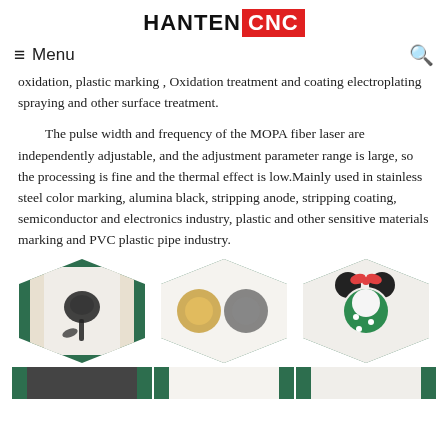HANTEN CNC
≡ Menu
oxidation, plastic marking , Oxidation treatment and coating electroplating spraying and other surface treatment.
The pulse width and frequency of the MOPA fiber laser are independently adjustable, and the adjustment parameter range is large, so the processing is fine and the thermal effect is low.Mainly used in stainless steel color marking, alumina black, stripping anode, stripping coating, semiconductor and electronics industry, plastic and other sensitive materials marking and PVC plastic pipe industry.
[Figure (photo): Phone with rose laser marking on white back]
[Figure (photo): Two dragon designs laser marked on white paper with green hexagon background]
[Figure (photo): Minnie Mouse colorful laser marking on white surface with green hexagon background]
[Figure (photo): Partial view of additional laser marking samples (bottom row, cut off)]